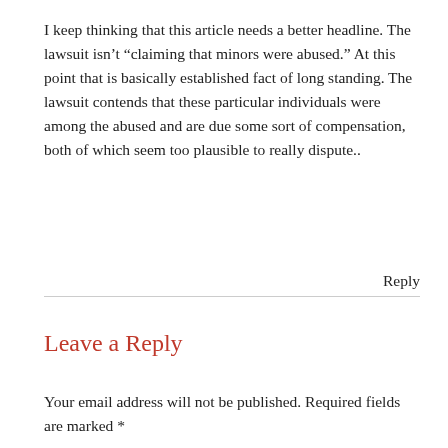I keep thinking that this article needs a better headline. The lawsuit isn’t “claiming that minors were abused.” At this point that is basically established fact of long standing. The lawsuit contends that these particular individuals were among the abused and are due some sort of compensation, both of which seem too plausible to really dispute..
Reply
Leave a Reply
Your email address will not be published. Required fields are marked *